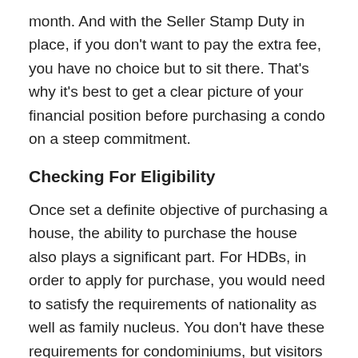month. And with the Seller Stamp Duty in place, if you don't want to pay the extra fee, you have no choice but to sit there. That's why it's best to get a clear picture of your financial position before purchasing a condo on a steep commitment.
Checking For Eligibility
Once set a definite objective of purchasing a house, the ability to purchase the house also plays a significant part. For HDBs, in order to apply for purchase, you would need to satisfy the requirements of nationality as well as family nucleus. You don't have these requirements for condominiums, but visitors do need to be mindful of the extra buyer's stamp duty imposed as part of the land refrigeration measures introduced in 2013. Permanent Resident will have to pay an additional 5% on their first